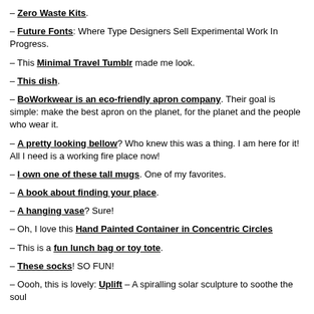– Zero Waste Kits.
– Future Fonts: Where Type Designers Sell Experimental Work In Progress.
– This Minimal Travel Tumblr made me look.
– This dish.
– BoWorkwear is an eco-friendly apron company. Their goal is simple: make the best apron on the planet, for the planet and the people who wear it.
– A pretty looking bellow? Who knew this was a thing. I am here for it! All I need is a working fire place now!
– I own one of these tall mugs. One of my favorites.
– A book about finding your place.
– A hanging vase? Sure!
– Oh, I love this Hand Painted Container in Concentric Circles
– This is a fun lunch bag or toy tote.
– These socks! SO FUN!
– Oooh, this is lovely: Uplift – A spiralling solar sculpture to soothe the soul